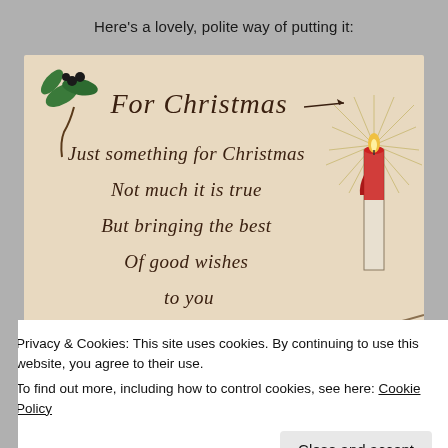Here’s a lovely, polite way of putting it:
[Figure (illustration): Vintage Christmas postcard with beige/cream background. Top left has holly leaves and berries decoration. Center top has ornate text 'For Christmas'. Below is a poem in decorative serif font: 'Just something for Christmas / Not much it is true / But bringing the best / Of good wishes / to you'. Right side shows a lit red candle with radiating light rays and pine cone decorations at base.]
Privacy & Cookies: This site uses cookies. By continuing to use this website, you agree to their use.
To find out more, including how to control cookies, see here: Cookie Policy
Close and accept